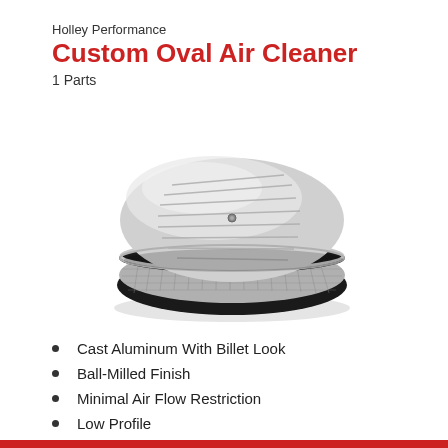Holley Performance
Custom Oval Air Cleaner
1 Parts
[Figure (photo): Chrome oval air cleaner with cast aluminum ball-milled ribbed top lid and mesh filter element, shown at an angle on white background.]
Cast Aluminum With Billet Look
Ball-Milled Finish
Minimal Air Flow Restriction
Low Profile
Very High Tech Look